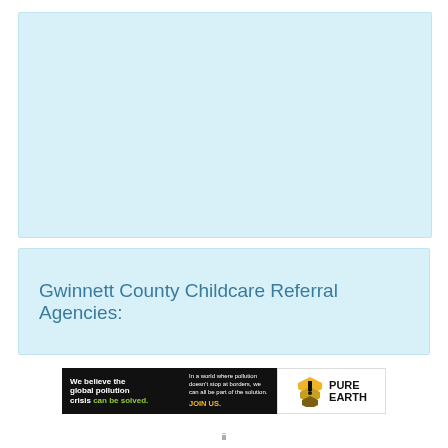[Figure (other): Light blue empty content area at top of page]
Gwinnett County Childcare Referral Agencies:
[Figure (infographic): Pure Earth advertisement banner: 'We believe the global pollution crisis can be solved. In a world where pollution doesn't stop at borders, we can all be part of the solution. JOIN US.' with Pure Earth logo on right.]
ii